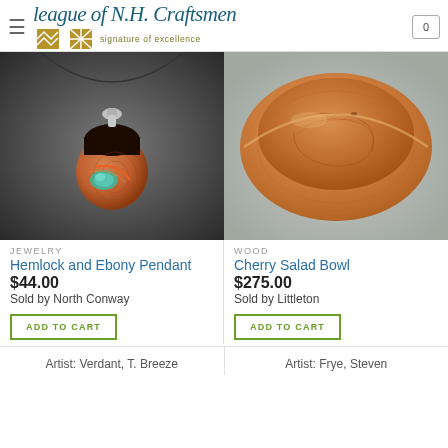League of N.H. Craftsmen — signature of excellence
[Figure (photo): Hemlock and Ebony Pendant jewelry photo — wooden pendant with ebony top and abalone inlay on a silver necklace, dark gray background]
JEWELRY
Hemlock and Ebony Pendant
$44.00
Sold by North Conway
ADD TO CART
[Figure (photo): Cherry Salad Bowl wood product photo — round wooden bowl with warm cherry wood grain, light gray background]
WOOD
Cherry Salad Bowl
$275.00
Sold by Littleton
ADD TO CART
Artist: Verdant, T. Breeze
Artist: Frye, Steven